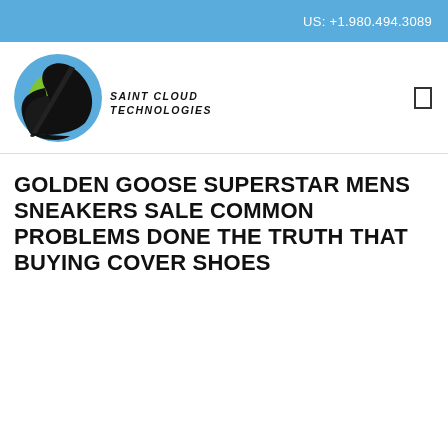US: +1.980.494.3089
[Figure (logo): Saint Cloud Technologies logo featuring a circular blue and green emblem with a black feather/leaf design and the text SAINT CLOUD TECHNOLOGIES]
GOLDEN GOOSE SUPERSTAR MENS SNEAKERS SALE COMMON PROBLEMS DONE THE TRUTH THAT BUYING COVER SHOES